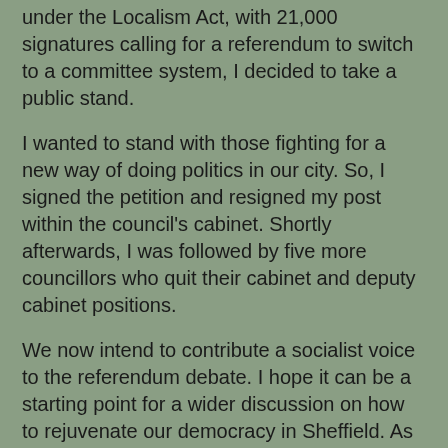under the Localism Act, with 21,000 signatures calling for a referendum to switch to a committee system, I decided to take a public stand.
I wanted to stand with those fighting for a new way of doing politics in our city. So, I signed the petition and resigned my post within the council's cabinet. Shortly afterwards, I was followed by five more councillors who quit their cabinet and deputy cabinet positions.
We now intend to contribute a socialist voice to the referendum debate. I hope it can be a starting point for a wider discussion on how to rejuvenate our democracy in Sheffield. As public representatives, we have questions to answer.
How do we rebuild universal public services after austerity, especially with the unfolding crises of health and social care? What role does local government play in a new era of public ownership? How do we become carbon neutral within the next decade, to avert climate catastrophe?
To respond to each of those challenges, we will need to